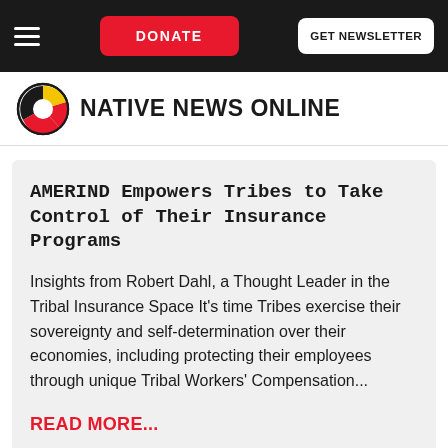DONATE | GET NEWSLETTER
[Figure (logo): Native News Online logo with circular feather/medicine wheel icon and bold text 'NATIVE NEWS ONLINE']
AMERIND Empowers Tribes to Take Control of Their Insurance Programs
Insights from Robert Dahl, a Thought Leader in the Tribal Insurance Space It's time Tribes exercise their sovereignty and self-determination over their economies, including protecting their employees through unique Tribal Workers' Compensation...
READ MORE...